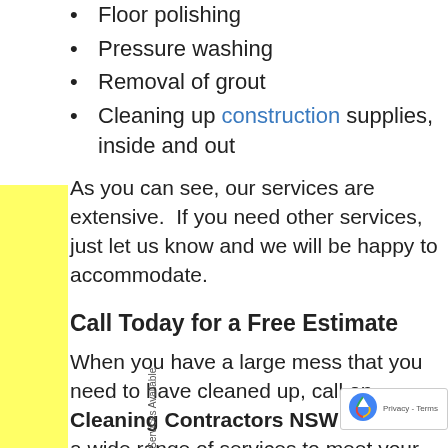Floor polishing
Pressure washing
Removal of grout
Cleaning up construction supplies, inside and out
As you can see, our services are extensive.  If you need other services, just let us know and we will be happy to accommodate.
Call Today for a Free Estimate
When you have a large mess that you need to have cleaned up, call on Cleaning Contractors NSW.  We offer a wide range of services to meet your every need. We understand that cleaning is not really fun, and we strive to ensure that you don't have to do it! When you hire our services, you can rest assured that your building will be clean through and through.  We take pride in our level of quality service, which is why we are so trusted when it comes to builders cleaning